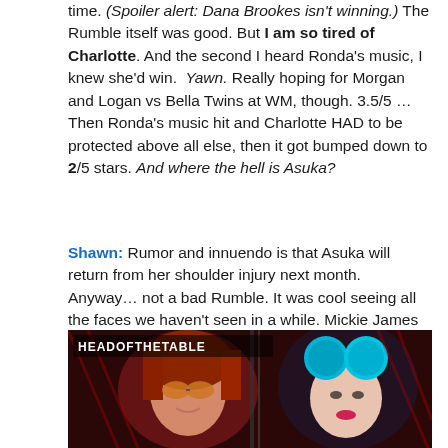time. (Spoiler alert: Dana Brookes isn't winning.) The Rumble itself was good. But I am so tired of Charlotte. And the second I heard Ronda's music, I knew she'd win. Yawn. Really hoping for Morgan and Logan vs Bella Twins at WM, though. 3.5/5 … Then Ronda's music hit and Charlotte HAD to be protected above all else, then it got bumped down to 2/5 stars. And where the hell is Asuka?
Shawn: Rumor and innuendo is that Asuka will return from her shoulder injury next month. Anyway… not a bad Rumble. It was cool seeing all the faces we haven't seen in a while. Mickie James got the second biggest pop of the night. As soon as Ronda Rousey's music hit it was obvious who was winning though. 3.5/5 Whiskeys.
[Figure (photo): Screenshot from WWE broadcast showing two women wrestlers on a dark red background with 'HEADOFTHETABLE' text overlay. Left figure has red/auburn hair and orange-tinted sunglasses; right figure has blue hair in buns with dramatic makeup.]